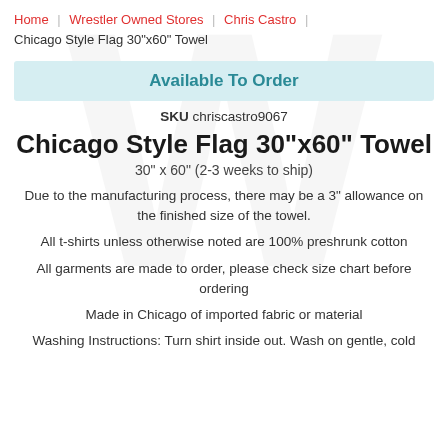Home | Wrestler Owned Stores | Chris Castro | Chicago Style Flag 30"x60" Towel
Available To Order
SKU chriscastro9067
Chicago Style Flag 30"x60" Towel
30" x 60" (2-3 weeks to ship)
Due to the manufacturing process, there may be a 3" allowance on the finished size of the towel.
All t-shirts unless otherwise noted are 100% preshrunk cotton
All garments are made to order, please check size chart before ordering
Made in Chicago of imported fabric or material
Washing Instructions: Turn shirt inside out. Wash on gentle, cold